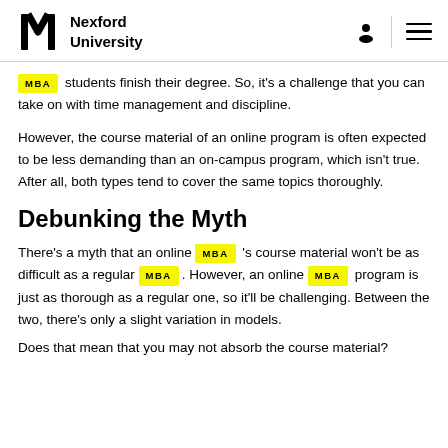Nexford University
MBA students finish their degree. So, it's a challenge that you can take on with time management and discipline.
However, the course material of an online program is often expected to be less demanding than an on-campus program, which isn't true. After all, both types tend to cover the same topics thoroughly.
Debunking the Myth
There's a myth that an online MBA 's course material won't be as difficult as a regular MBA. However, an online MBA program is just as thorough as a regular one, so it'll be challenging. Between the two, there's only a slight variation in models.
Does that mean that you may not absorb the course material?